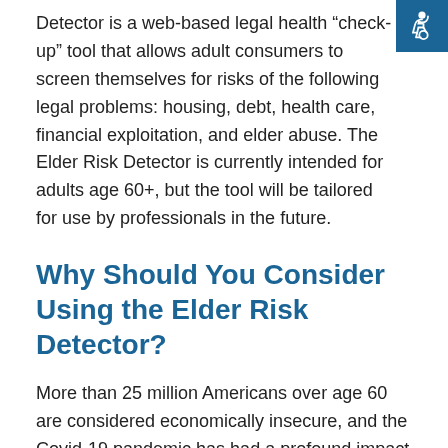Detector is a web-based legal health “check-up” tool that allows adult consumers to screen themselves for risks of the following legal problems: housing, debt, health care, financial exploitation, and elder abuse. The Elder Risk Detector is currently intended for adults age 60+, but the tool will be tailored for use by professionals in the future.
Why Should You Consider Using the Elder Risk Detector?
More than 25 million Americans over age 60 are considered economically insecure, and the Covid-19 pandemic has had a profound impact on the well-being of older adults and adults with disabilities.